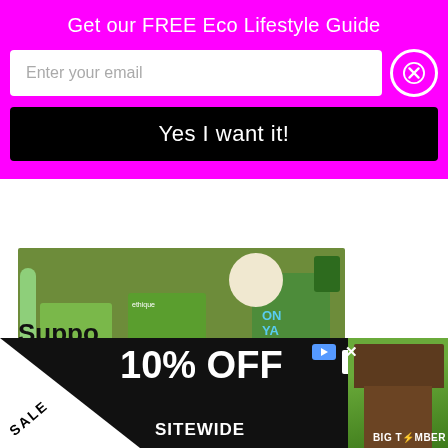Get our FREE Eco Lifestyle Guide
Enter your email
Yes I want it!
[Figure (photo): Eco lifestyle products including ethique and ONYA branded boxes, a ball, and reusable bag on a green background]
[Figure (other): Salmon/pink card with large letter S]
Suppo
[Figure (other): Dropdown with chevron]
[Figure (infographic): Advertisement banner: SALE 10% OFF SITEWIDE SHOP NOW ENDS 8/31 BIG TIMBER with gazebo image]